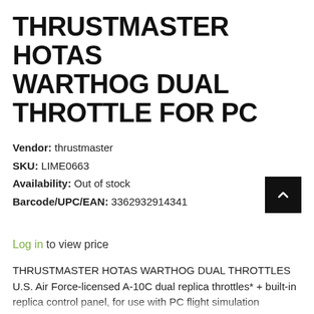THRUSTMASTER HOTAS WARTHOG DUAL THROTTLE FOR PC
Vendor: thrustmaster
SKU: LIME0663
Availability: Out of stock
Barcode/UPC/EAN: 3362932914341
Log in to view price
THRUSTMASTER HOTAS WARTHOG DUAL THROTTLES U.S. Air Force-licensed A-10C dual replica throttles* + built-in replica control panel, for use with PC flight simulation software and games. Works with all joysticks on the market and with all games supporting multi-USB and throttles. DUAL REPLICA THROTTLES